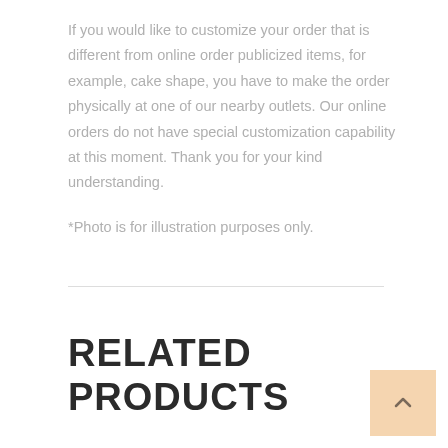If you would like to customize your order that is different from online order publicized items, for example, cake shape, you have to make the order physically at one of our nearby outlets. Our online orders do not have special customization capability at this moment. Thank you for your kind understanding.
*Photo is for illustration purposes only.
RELATED PRODUCTS